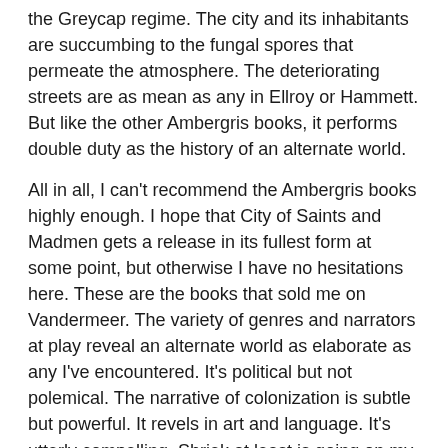the Greycap regime. The city and its inhabitants are succumbing to the fungal spores that permeate the atmosphere. The deteriorating streets are as mean as any in Ellroy or Hammett. But like the other Ambergris books, it performs double duty as the history of an alternate world.
All in all, I can't recommend the Ambergris books highly enough. I hope that City of Saints and Madmen gets a release in its fullest form at some point, but otherwise I have no hesitations here. These are the books that sold me on Vandermeer. The variety of genres and narrators at play reveal an alternate world as elaborate as any I've encountered. It's political but not polemical. The narrative of colonization is subtle but powerful. It revels in art and language. It's utterly compelling. Shriek at least is going on my yearly reread list. I've not read anything by Vandermeer that I didn't at least like, but these (especially Shriek) and Dead Astronauts are his best for my money.
City of Saints and Madmen- Canon Worthy in this form, Canon in the more complete form. My final reread of 2020.
Shriek: An Afterword. Canon. Yearly Reread 2021 1/8